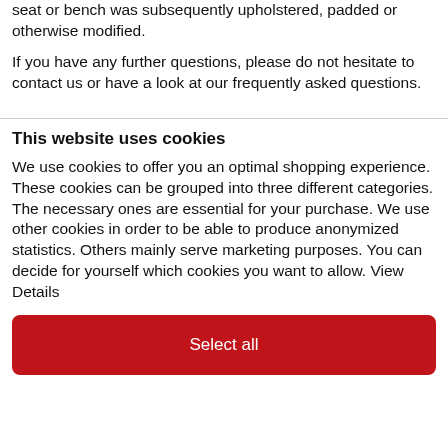seat or bench was subsequently upholstered, padded or otherwise modified.
If you have any further questions, please do not hesitate to contact us or have a look at our frequently asked questions.
This website uses cookies
We use cookies to offer you an optimal shopping experience. These cookies can be grouped into three different categories. The necessary ones are essential for your purchase. We use other cookies in order to be able to produce anonymized statistics. Others mainly serve marketing purposes. You can decide for yourself which cookies you want to allow. View Details
Select all